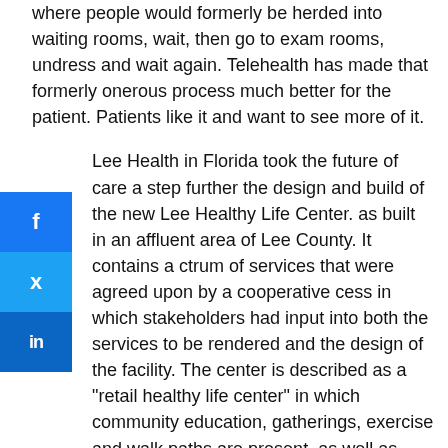where people would formerly be herded into waiting rooms, wait, then go to exam rooms, undress and wait again. Telehealth has made that formerly onerous process much better for the patient. Patients like it and want to see more of it.
Lee Health in Florida took the future of care a step further the design and build of the new Lee Healthy Life Center. as built in an affluent area of Lee County. It contains a ctrum of services that were agreed upon by a cooperative cess in which stakeholders had input into both the services to be rendered and the design of the facility. The center is described as a "retail healthy life center" in which community education, gatherings, exercise and walk paths are present, as well as retail sites. In the words of Dave Kistel pf Lee Health, "It will be hard the train that is running away from acute care. We think the "Whole Person Care Model" will affect all demographics.